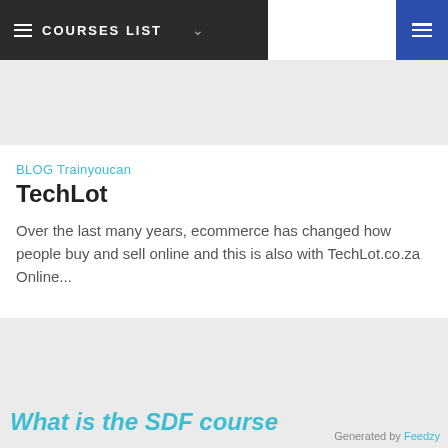COURSES LIST
BLOG Trainyoucan
TechLot
Over the last many years, ecommerce has changed how people buy and sell online and this is also with TechLot.co.za Online...
What is the SDF course
Generated by Feedzy